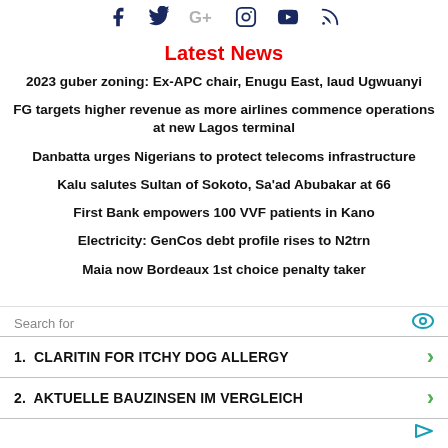[Figure (infographic): Social media icons: Facebook, Twitter, Google+, Instagram, YouTube, RSS feed in dark navy color]
Latest News
2023 guber zoning: Ex-APC chair, Enugu East, laud Ugwuanyi
FG targets higher revenue as more airlines commence operations at new Lagos terminal
Danbatta urges Nigerians to protect telecoms infrastructure
Kalu salutes Sultan of Sokoto, Sa'ad Abubakar at 66
First Bank empowers 100 VVF patients in Kano
Electricity: GenCos debt profile rises to N2trn
Maia now Bordeaux 1st choice penalty taker
Search for
1.  CLARITIN FOR ITCHY DOG ALLERGY
2.  AKTUELLE BAUZINSEN IM VERGLEICH